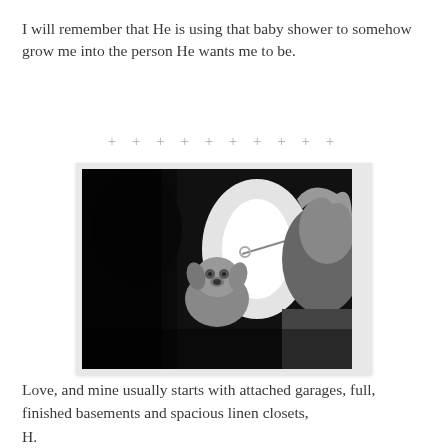I will remember that He is using that baby shower to somehow grow me into the person He wants me to be.
+ + + + + + + + + +
[Figure (photo): Black and white photo of a small dog being held, with a bright light source visible and a person partially visible on the right side]
Love, and mine usually starts with attached garages, full, finished basements and spacious linen closets,
H.

...and en suite bathrooms....and large pantries,